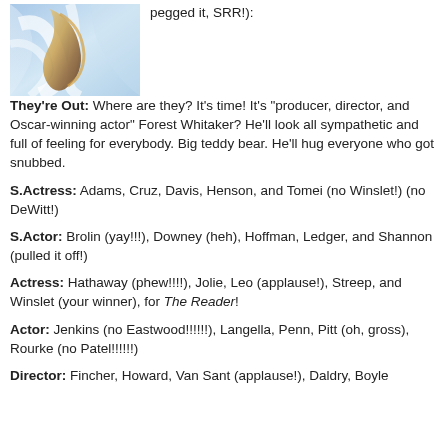[Figure (photo): Colorful abstract/artistic photo with blue, white, gold tones]
pegged it, SRR!):
They're Out: Where are they? It's time! It's "producer, director, and Oscar-winning actor" Forest Whitaker? He'll look all sympathetic and full of feeling for everybody. Big teddy bear. He'll hug everyone who got snubbed.
S.Actress: Adams, Cruz, Davis, Henson, and Tomei (no Winslet!) (no DeWitt!)
S.Actor: Brolin (yay!!!), Downey (heh), Hoffman, Ledger, and Shannon (pulled it off!)
Actress: Hathaway (phew!!!!), Jolie, Leo (applause!), Streep, and Winslet (your winner), for The Reader!
Actor: Jenkins (no Eastwood!!!!!!), Langella, Penn, Pitt (oh, gross), Rourke (no Patel!!!!!!)
Director: Fincher, Howard, Van Sant (applause!), Daldry, Boyle